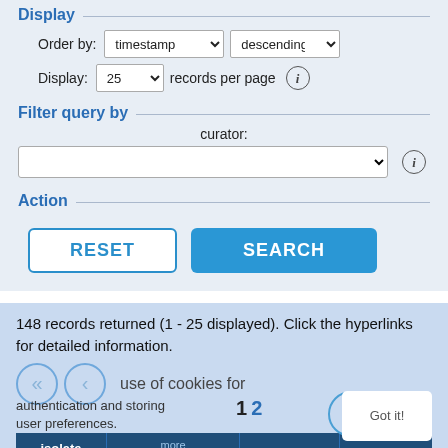Display
Order by: timestamp descending
Display: 25 records per page
Filter query by
curator:
Action
RESET   SEARCH
148 records returned (1 - 25 displayed). Click the hyperlinks for detailed information.
use of cookies for authentication and storing user preferences.
1   2   Got it!
| isolate id | more timestamp | action | curator |
| --- | --- | --- | --- |